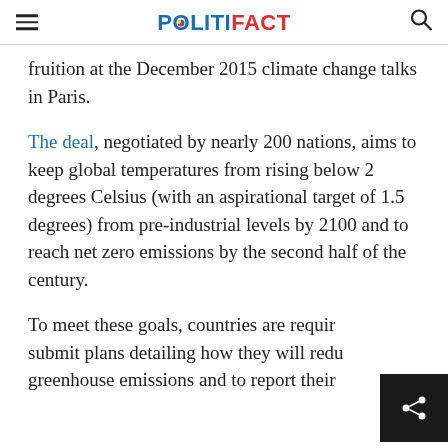POLITIFACT
fruition at the December 2015 climate change talks in Paris.
The deal, negotiated by nearly 200 nations, aims to keep global temperatures from rising below 2 degrees Celsius (with an aspirational target of 1.5 degrees) from pre-industrial levels by 2100 and to reach net zero emissions by the second half of the century.
To meet these goals, countries are required to submit plans detailing how they will reduce greenhouse emissions and to report their